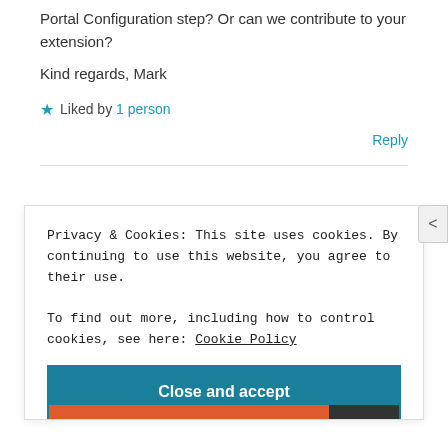Portal Configuration step? Or can we contribute to your extension?
Kind regards, Mark
★ Liked by 1 person
Reply
Privacy & Cookies: This site uses cookies. By continuing to use this website, you agree to their use.
To find out more, including how to control cookies, see here: Cookie Policy
Close and accept